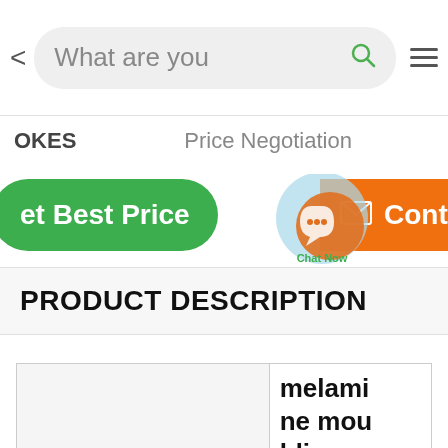What are you [searching for]
OKES   Price Negotiation
Get Best Price   Contact
PRODUCT DESCRIPTION
|  | melamine moulding p |